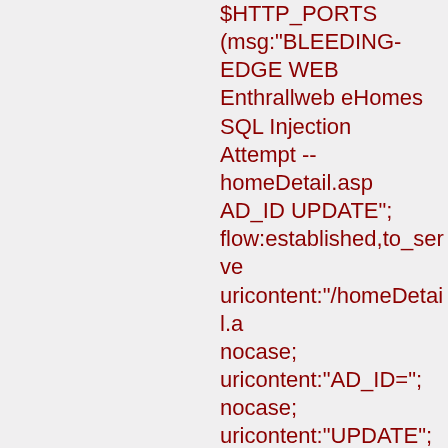$HTTP_PORTS (msg:"BLEEDING-EDGE WEB Enthrallweb eHomes SQL Injection Attempt -- homeDetail.asp AD_ID UPDATE"; flow:established,to_server; uricontent:"/homeDetail.a; nocase; uricontent:"AD_ID="; nocase; uricontent:"UPDATE"; nocase; pcre:"/.+UPDATE.+SET/U; classtype:web-application-attack; reference:cve,CVE-2006-6204; reference:url,www.securit; sid:2007099; rev:1;)